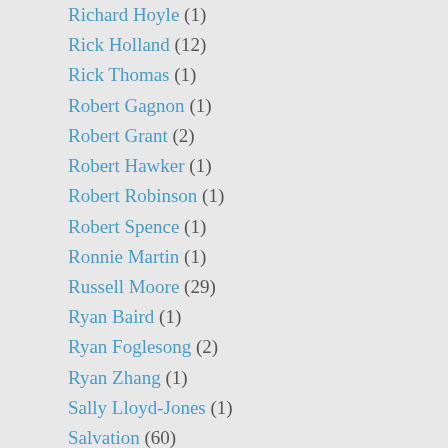Richard Hoyle (1)
Rick Holland (12)
Rick Thomas (1)
Robert Gagnon (1)
Robert Grant (2)
Robert Hawker (1)
Robert Robinson (1)
Robert Spence (1)
Ronnie Martin (1)
Russell Moore (29)
Ryan Baird (1)
Ryan Foglesong (2)
Ryan Zhang (1)
Sally Lloyd-Jones (1)
Salvation (60)
Sam Allberry (1)
Sam Waldron (3)
Samuel Crossman (2)
Samuel Davies (1)
Samuel Hsu (1)
Samuel John Stone (1)